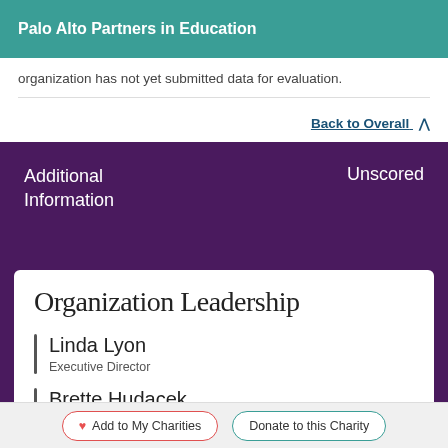Palo Alto Partners in Education
organization has not yet submitted data for evaluation.
Back to Overall ∧
Additional Information
Unscored
Organization Leadership
Linda Lyon
Executive Director
Brette Hudacek